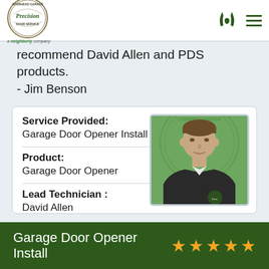Precision Door Service — a Neighborly company
recommend David Allen and PDS products.
- Jim Benson
| Field | Value |
| --- | --- |
| Service Provided: | Garage Door Opener Install |
| Product: | Garage Door Opener |
| Lead Technician : | David Allen |
[Figure (photo): Photo of technician David Allen in a black Precision Door Service uniform, with a green Precision Overhead Garage Door Service logo backdrop]
Garage Door Opener Install ★★★★★